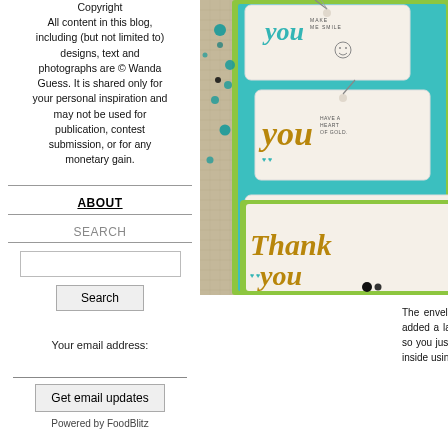Copyright
All content in this blog, including (but not limited to) designs, text and photographs are © Wanda Guess. It is shared only for your personal inspiration and may not be used for publication, contest submission, or for any monetary gain.
ABOUT
SEARCH
[Figure (photo): Photo of handmade greeting card tags with 'you make me smile', 'you have a heart of gold', and 'thank you' text in gold script on white tags with teal and lime green backing, scattered teal gems, on burlap background]
The envelope die cuts like a dream! I papers. Then I added a layer of white ca die has a notch in the back, so you jus done! This is also a GREAT size to be card inside using a glue dot and then sta
Your email address:
Powered by FoodBlitz